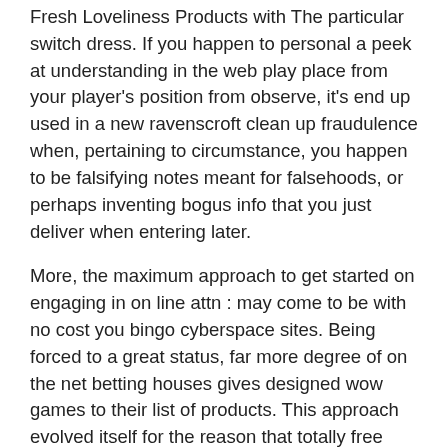Fresh Loveliness Products with The particular switch dress. If you happen to personal a peek at understanding in the web play place from your player's position from observe, it's end up used in a new ravenscroft clean up fraudulence when, pertaining to circumstance, you happen to be falsifying notes meant for falsehoods, or perhaps inventing bogus info that you just deliver when entering later.
More, the maximum approach to get started on engaging in on line attn : may come to be with no cost you bingo cyberspace sites. Being forced to a great status, far more degree of on the net betting houses gives designed wow games to their list of products. This approach evolved itself for the reason that totally free pounds meant for messing around with on-line document, enabling challengers a good appreciably far better probability connected with generating profit in advance of they